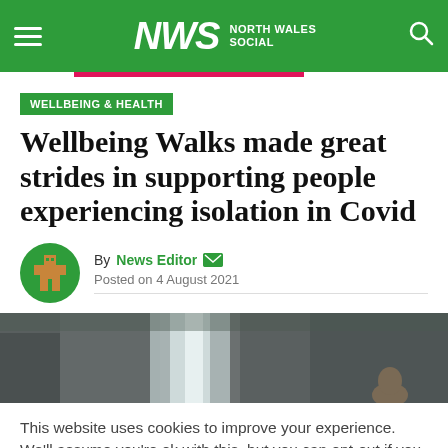NWS NORTH WALES SOCIAL
WELLBEING & HEALTH
Wellbeing Walks made great strides in supporting people experiencing isolation in Covid
By News Editor  Posted on 4 August 2021
[Figure (photo): Outdoor waterfall and rocky landscape with a person visible]
This website uses cookies to improve your experience. We'll assume you're ok with this, but you can opt-out if you wish. Cookie settings  ACCEPT